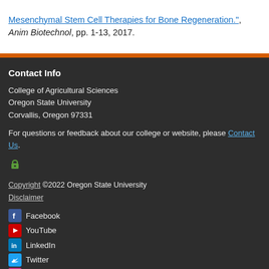Mesenchymal Stem Cell Therapies for Bone Regeneration.", Anim Biotechnol, pp. 1-13, 2017.
Contact Info
College of Agricultural Sciences
Oregon State University
Corvallis, Oregon 97331
For questions or feedback about our college or website, please Contact Us.
Copyright ©2022 Oregon State University
Disclaimer
Facebook
YouTube
LinkedIn
Twitter
Instagram